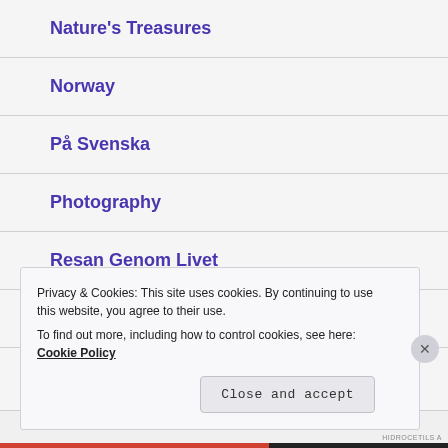Nature's Treasures
Norway
På Svenska
Photography
Resan Genom Livet
Uncategorized
World Photo Shell
Privacy & Cookies: This site uses cookies. By continuing to use this website, you agree to their use.
To find out more, including how to control cookies, see here: Cookie Policy
Close and accept